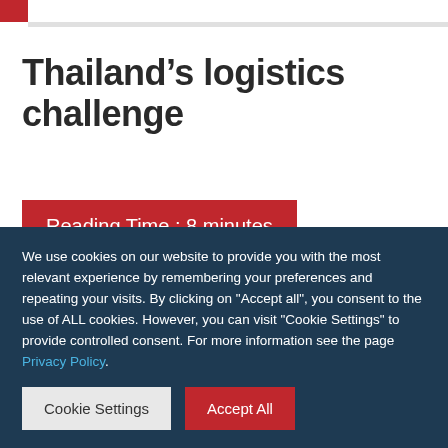Thailand’s logistics challenge
Reading Time : 8 minutes
THAILAND’s next challenge
We use cookies on our website to provide you with the most relevant experience by remembering your preferences and repeating your visits. By clicking on "Accept all", you consent to the use of ALL cookies. However, you can visit "Cookie Settings" to provide controlled consent. For more information see the page Privacy Policy.